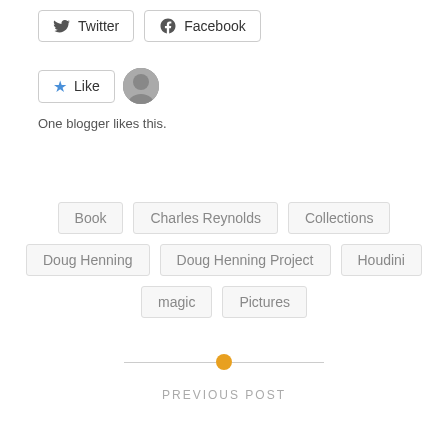[Figure (other): Twitter and Facebook social share buttons]
[Figure (other): Like button with star icon and user avatar, followed by 'One blogger likes this.' text]
One blogger likes this.
Book
Charles Reynolds
Collections
Doug Henning
Doug Henning Project
Houdini
magic
Pictures
[Figure (other): Horizontal divider with a yellow/orange dot in the center]
PREVIOUS POST